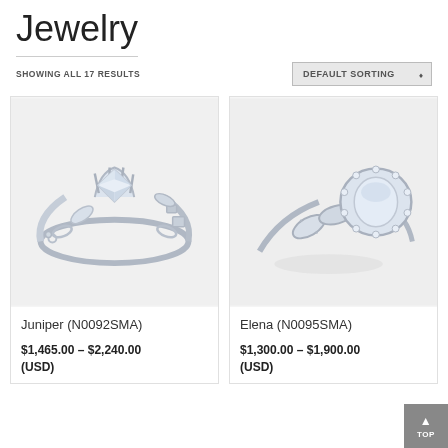Jewelry
SHOWING ALL 17 RESULTS
[Figure (photo): Diamond engagement ring - Juniper (N0092SMA) - round brilliant cut center stone with milgrain-detailed band and small diamond accents]
Juniper (N0092SMA)
$1,465.00 – $2,240.00 (USD)
[Figure (photo): Diamond engagement ring - Elena (N0095SMA) - oval halo setting with milgrain marquise-shaped accent stones on band]
Elena (N0095SMA)
$1,300.00 – $1,900.00 (USD)